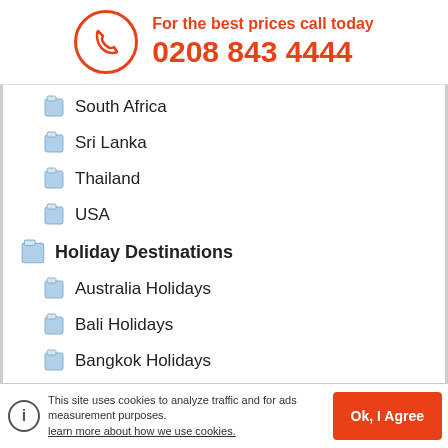[Figure (infographic): Orange circle with phone handset icon and call-to-action text]
For the best prices call today
0208 843 4444
South Africa
Sri Lanka
Thailand
USA
Holiday Destinations
Australia Holidays
Bali Holidays
Bangkok Holidays
Canada Holidays
Dubai Holidays
Egypt Holidays
Hong Kong Holidays
India Holidays
This site uses cookies to analyze traffic and for ads measurement purposes. learn more about how we use cookies.
Ok, I Agree